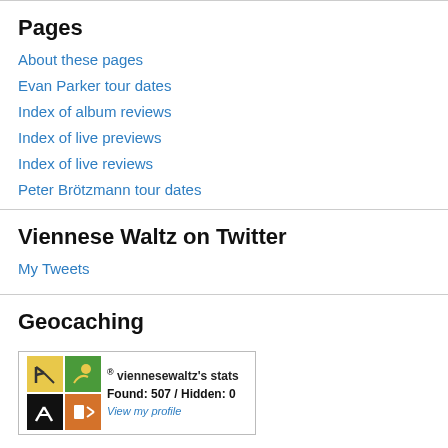Pages
About these pages
Evan Parker tour dates
Index of album reviews
Index of live previews
Index of live reviews
Peter Brötzmann tour dates
Viennese Waltz on Twitter
My Tweets
Geocaching
[Figure (screenshot): Geocaching stats widget showing viennesewaltz's stats: Found: 507 / Hidden: 0, with View my profile link and geocaching logo grid]